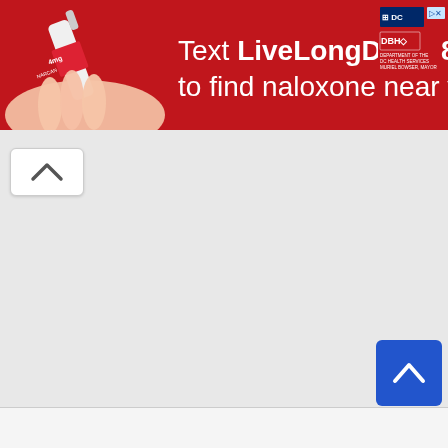[Figure (infographic): Red banner advertisement: 'Text LiveLongDC to 888-811 to find naloxone near you.' with DC government and DBH logos, showing a nasal spray device on the left side.]